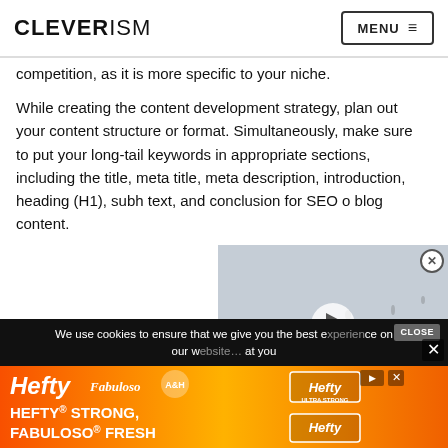CLEVERISM  MENU
competition, as it is more specific to your niche.
While creating the content development strategy, plan out your content structure or format. Simultaneously, make sure to put your long-tail keywords in appropriate sections, including the title, meta title, meta description, introduction, heading (H1), subh… text, and conclusion for SEO o… blog content.
[Figure (screenshot): Video player overlay showing aerial view of people walking, with a play button in the center and a close button in the top right corner.]
We use cookies to ensure that we give you the best experience on our w… at you
[Figure (photo): Hefty and Fabuloso advertisement banner with orange gradient background, displaying 'HEFTY STRONG, FABULOSO FRESH' text with Hefty and Fabuloso product logos and Arm & Hammer branding.]